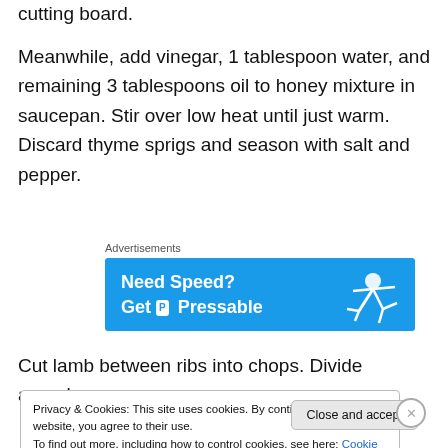cutting board.
Meanwhile, add vinegar, 1 tablespoon water, and remaining 3 tablespoons oil to honey mixture in saucepan. Stir over low heat until just warm. Discard thyme sprigs and season with salt and pepper.
Advertisements
[Figure (other): Advertisement banner for Pressable hosting: 'Need Speed? Get Pressable' with a person flying on a blue background]
Cut lamb between ribs into chops. Divide arugula among
Privacy & Cookies: This site uses cookies. By continuing to use this website, you agree to their use.
To find out more, including how to control cookies, see here: Cookie Policy
Close and accept